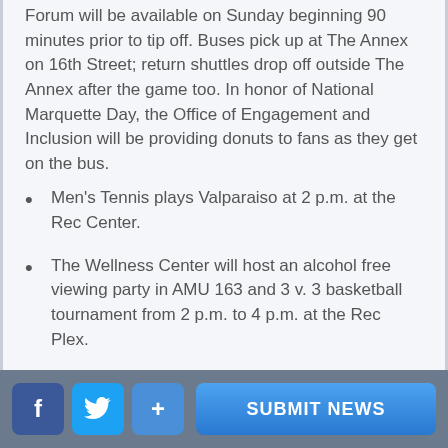Forum will be available on Sunday beginning 90 minutes prior to tip off. Buses pick up at The Annex on 16th Street; return shuttles drop off outside The Annex after the game too. In honor of National Marquette Day, the Office of Engagement and Inclusion will be providing donuts to fans as they get on the bus.
Men's Tennis plays Valparaiso at 2 p.m. at the Rec Center.
The Wellness Center will host an alcohol free viewing party in AMU 163 and 3 v. 3 basketball tournament from 2 p.m. to 4 p.m. at the Rec Plex.
Mass will conclude Mission Week, 6 p.m. at the Church of the Gesu.